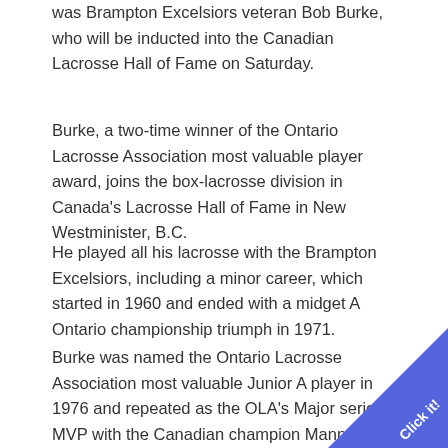was Brampton Excelsiors veteran Bob Burke, who will be inducted into the Canadian Lacrosse Hall of Fame on Saturday.
Burke, a two-time winner of the Ontario Lacrosse Association most valuable player award, joins the box-lacrosse division in Canada's Lacrosse Hall of Fame in New Westminister, B.C.
He played all his lacrosse with the Brampton Excelsiors, including a minor career, which started in 1960 and ended with a midget A Ontario championship triumph in 1971.
Burke was named the Ontario Lacrosse Association most valuable Junior A player in 1976 and repeated as the OLA's Major series MVP with the Canadian champion Mann Cup winning Excelsiors in 1980.
[Figure (other): Blue diagonal banner in bottom-right corner with text 'Click it!']